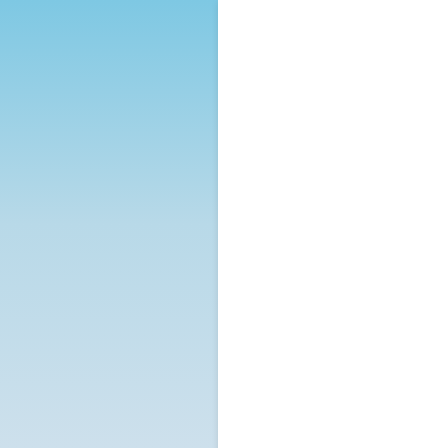CEMA represents...
The co... 29 Jun... the WO... system... areas.
The cu... CEMA... WCO S... the wo... Burkina...
During... comme... HS 20... tasked... adoptio...